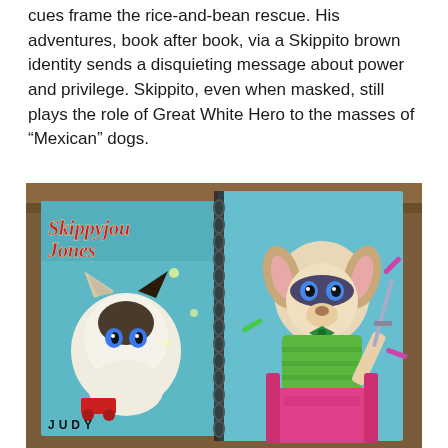cues frame the rice-and-bean rescue. His adventures, book after book, via a Skippito brown identity sends a disquieting message about power and privilege. Skippito, even when masked, still plays the role of Great White Hero to the masses of “Mexican” dogs.
[Figure (photo): Photograph of the Skippyjou Jones book cover alongside a spiral-bound notebook with a hand-drawn illustration. The book cover shows the title 'Skippyjou Jones' in red italic lettering on a teal background, with a Siamese cat illustration and the author name 'JUDY' at the bottom. The notebook shows a colored pencil drawing of a small dog character wearing a mask and green shirt, holding a sword, seated in a pink chair.]